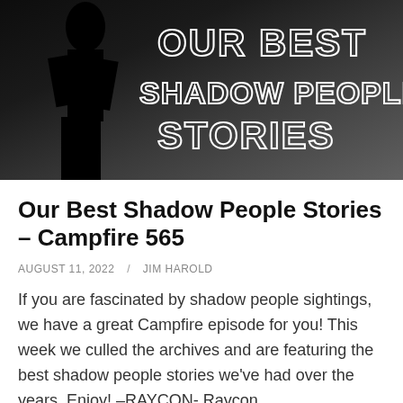[Figure (photo): Dark black and white image with a shadowy silhouette figure on the left and large outlined text reading 'OUR BEST SHADOW PEOPLE STORIES' on the right against a moody, foggy background.]
Our Best Shadow People Stories – Campfire 565
AUGUST 11, 2022 / JIM HAROLD
If you are fascinated by shadow people sightings, we have a great Campfire episode for you! This week we culled the archives and are featuring the best shadow people stories we've had over the years. Enjoy! –RAYCON- Raycon